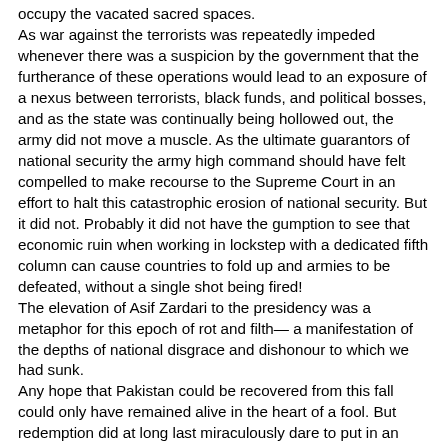occupy the vacated sacred spaces.
As war against the terrorists was repeatedly impeded whenever there was a suspicion by the government that the furtherance of these operations would lead to an exposure of a nexus between terrorists, black funds, and political bosses, and as the state was continually being hollowed out, the army did not move a muscle. As the ultimate guarantors of national security the army high command should have felt compelled to make recourse to the Supreme Court in an effort to halt this catastrophic erosion of national security. But it did not. Probably it did not have the gumption to see that economic ruin when working in lockstep with a dedicated fifth column can cause countries to fold up and armies to be defeated, without a single shot being fired!
The elevation of Asif Zardari to the presidency was a metaphor for this epoch of rot and filth— a manifestation of the depths of national disgrace and dishonour to which we had sunk.
Any hope that Pakistan could be recovered from this fall could only have remained alive in the heart of a fool. But redemption did at long last miraculously dare to put in an appearance. Imran Khan won the elections, and the higher judiciary and the army, for once, seemed to stand by the higher interests of their country.
But by this time the country was a suppurating mess with its infrastructure for governance destroyed,? every higher value subverted, while economically it was in an advanced